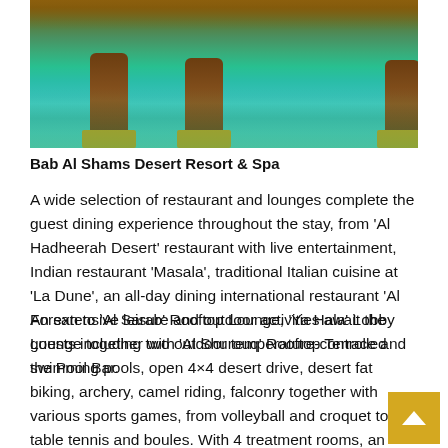[Figure (photo): Photo of a pool area at Bab Al Shams Desert Resort & Spa, showing teal/turquoise water with wooden pillars on yellow-green bases reflected in the water, warm amber lighting in background.]
Bab Al Shams Desert Resort & Spa
A wide selection of restaurant and lounges complete the guest dining experience throughout the stay, from 'Al Hadheerah Desert' restaurant with live entertainment, Indian restaurant 'Masala', traditional Italian cuisine at 'La Dune', an all-day dining international restaurant 'Al Forsan to 'Al Sarab' Rooftop Lounge, 'Ya Hala' Lobby Lounge together with 'Al Shurouq' Rooftop Terrace and the Pool Bar.
An extensive leisure and outdoor activities await the guests including two outdoor temperature-controlled swimming pools, open 4×4 desert drive, desert fat biking, archery, camel riding, falconry together with various sports games, from volleyball and croquet to table tennis and boules. With 4 treatment rooms, an indoor and outdoor relaxation areas, the award-winning 'satori' spa offers an urban oasis for spa goers to indulge and re-